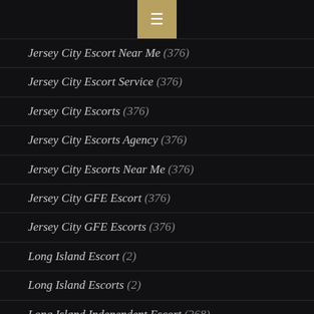☰
Jersey City Escort Near Me (376)
Jersey City Escort Service (376)
Jersey City Escorts (376)
Jersey City Escorts Agency (376)
Jersey City Escorts Near Me (376)
Jersey City GFE Escort (376)
Jersey City GFE Escorts (376)
Long Island Escort (2)
Long Island Escorts (2)
Long Island Independent Escort (368)
Long Island Independent Escorts (368)